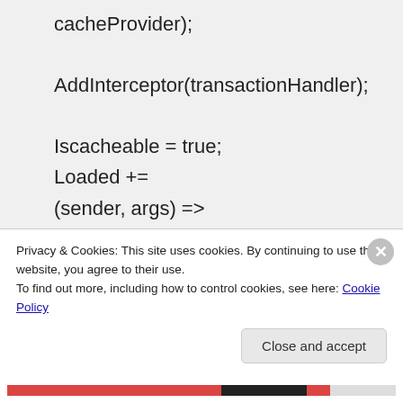cacheProvider);

AddInterceptor(transactionHandler);

Iscacheable = true;
Loaded +=
(sender, args) =>
args.ReplaceService(
(s, _) => new
CachingProviderServices(s,
transactionHandler,
new CachingPolicy()));
Privacy & Cookies: This site uses cookies. By continuing to use this website, you agree to their use.
To find out more, including how to control cookies, see here: Cookie Policy
Close and accept